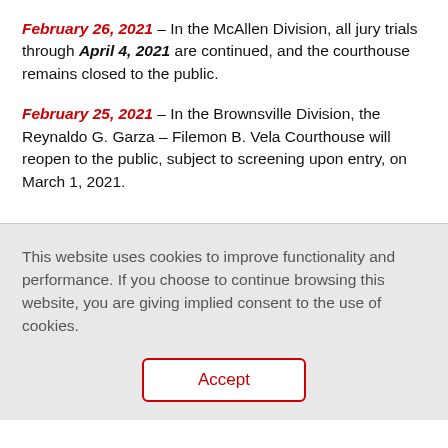February 26, 2021 – In the McAllen Division, all jury trials through April 4, 2021 are continued, and the courthouse remains closed to the public.
February 25, 2021 – In the Brownsville Division, the Reynaldo G. Garza – Filemon B. Vela Courthouse will reopen to the public, subject to screening upon entry, on March 1, 2021.
This website uses cookies to improve functionality and performance. If you choose to continue browsing this website, you are giving implied consent to the use of cookies.